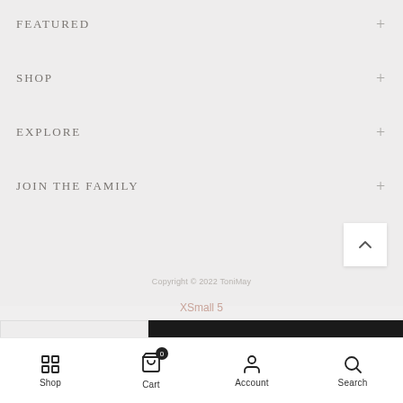FEATURED
SHOP
EXPLORE
JOIN THE FAMILY
Copyright © 2022 ToniMay
XSmall 5
Shop  Cart  Account  Search